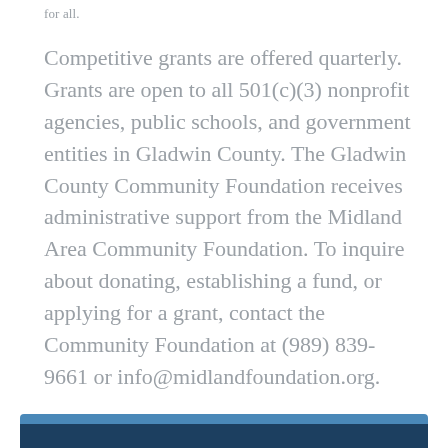for all.
Competitive grants are offered quarterly. Grants are open to all 501(c)(3) nonprofit agencies, public schools, and government entities in Gladwin County. The Gladwin County Community Foundation receives administrative support from the Midland Area Community Foundation. To inquire about donating, establishing a fund, or applying for a grant, contact the Community Foundation at (989) 839-9661 or info@midlandfoundation.org.